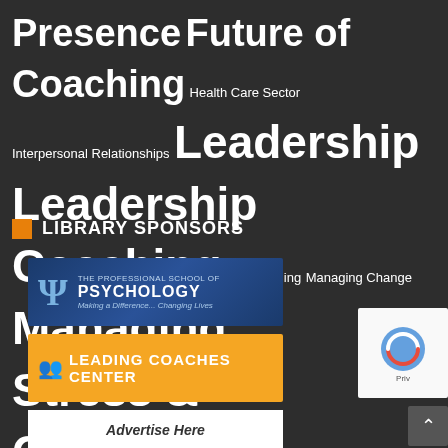[Figure (infographic): Tag cloud with coaching and leadership related topics in varying font sizes on dark background. Terms include: Presence, Future of Coaching, Health Care Sector, Interpersonal Relationships, Leadership, Leadership Coaching, Life Planning, Managing Change, Managing Stress & Challenges, Marketing, Neurosciences: Brain & Behavior, Organizational Theory, Organiz Develop (OD), Performance, Personal & Life Coaching, Research Resources, Return on Investment, Strategies, Surveys & Questionnaires, Tools, Tools, Transformation, Trust]
LIBRARY SPONSORS
[Figure (logo): The Professional School of Psychology banner - blue gradient background with psi symbol and text 'THE PROFESSIONAL SCHOOL OF PSYCHOLOGY - Making a Difference... Changing Lives']
[Figure (logo): Leading Coaches Center banner - orange background with white silhouette figures and text 'LEADING COACHES CENTER']
[Figure (other): Advertise Here banner - white background with italic text]